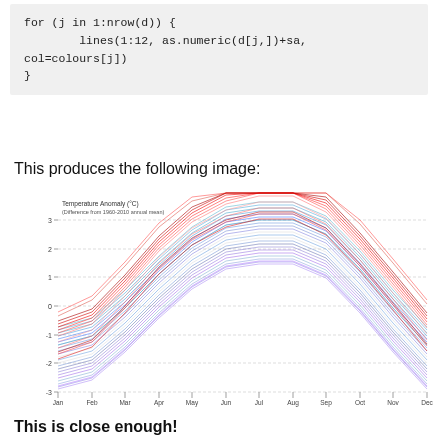for (j in 1:nrow(d)) {
        lines(1:12, as.numeric(d[j,])+sa,
col=colours[j])
}
This produces the following image:
[Figure (continuous-plot): Temperature Anomaly (°C) line chart showing monthly values (Jan–Dec) for many years, colored from blue (older/cooler years) to red (newer/warmer years). Y-axis ranges from about -3 to 3. Lines form an arch peaking around July-August. Subtitle: Difference from 1960-2010 annual mean.]
This is close enough!